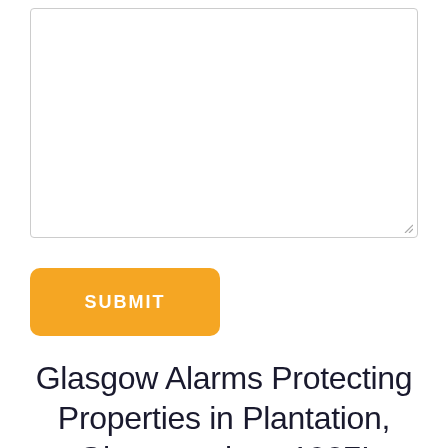[Figure (screenshot): A large empty textarea input box with a border and resize handle at the bottom-right corner]
[Figure (screenshot): A yellow rounded rectangle button labeled SUBMIT in white bold uppercase letters]
Glasgow Alarms Protecting Properties in Plantation, Glasgow since 1987!